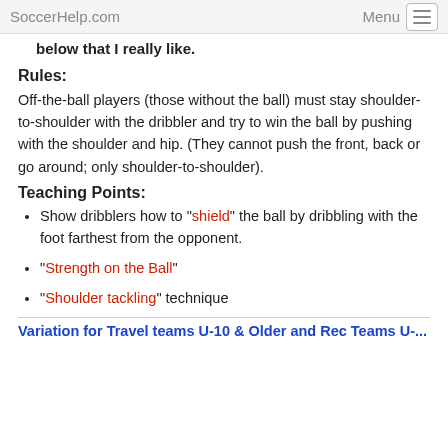SoccerHelp.com   Menu
below that I really like.
Rules:
Off-the-ball players (those without the ball) must stay shoulder-to-shoulder with the dribbler and try to win the ball by pushing with the shoulder and hip. (They cannot push the front, back or go around; only shoulder-to-shoulder).
Teaching Points:
Show dribblers how to "shield" the ball by dribbling with the foot farthest from the opponent.
"Strength on the Ball"
"Shoulder tackling" technique
Variation for Travel teams U-10 & Older and Rec Teams U-...